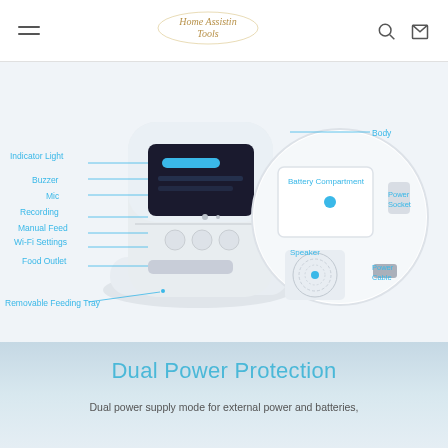Home Assistin Tools
[Figure (engineering-diagram): Labeled diagram of an automatic pet feeder device showing components: Indicator Light, Buzzer, Mic, Recording, Manual Feed, Wi-Fi Settings, Food Outlet, Removable Feeding Tray on the left side; Body, Battery Compartment, Speaker, Power Socket, Power Cable on the right circular inset showing the back/bottom of the device.]
Dual Power Protection
Dual power supply mode for external power and batteries,